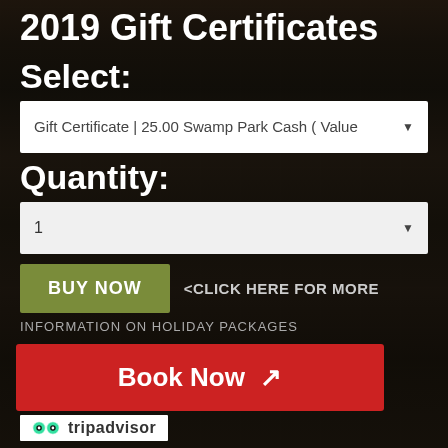2019 Gift Certificates
Select:
Gift Certificate | 25.00 Swamp Park Cash ( Value▾
Quantity:
1 ▾
BUY NOW  <CLICK HERE FOR MORE
INFORMATION ON HOLIDAY PACKAGES
Book Now ↗
tripadvisor